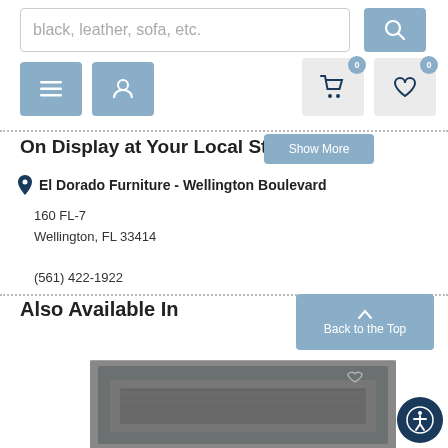[Figure (screenshot): Search input box with placeholder text 'black, leather, sofa, etc.' and a blue search button with magnifying glass icon]
[Figure (screenshot): Navigation buttons: hamburger menu button (blue), user account button (blue), shopping cart button (gray) with badge '0', heart/wishlist button (gray) with badge '0']
On Display at Your Local Store
El Dorado Furniture - Wellington Boulevard
160 FL-7
Wellington, FL 33414

(561) 422-1922
Also Available In
[Figure (photo): Partial product image showing a gray/charcoal colored furniture piece with wood frame detail at the bottom of the page]